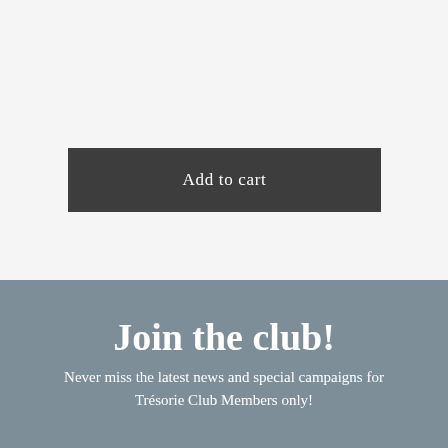Add to cart
Join the club!
Never miss the latest news and special campaigns for Trésorie Club Members only!